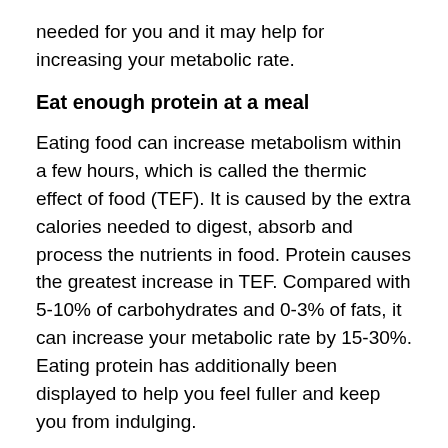needed for you and it may help for increasing your metabolic rate.
Eat enough protein at a meal
Eating food can increase metabolism within a few hours, which is called the thermic effect of food (TEF). It is caused by the extra calories needed to digest, absorb and process the nutrients in food. Protein causes the greatest increase in TEF. Compared with 5-10% of carbohydrates and 0-3% of fats, it can increase your metabolic rate by 15-30%. Eating protein has additionally been displayed to help you feel fuller and keep you from indulging.